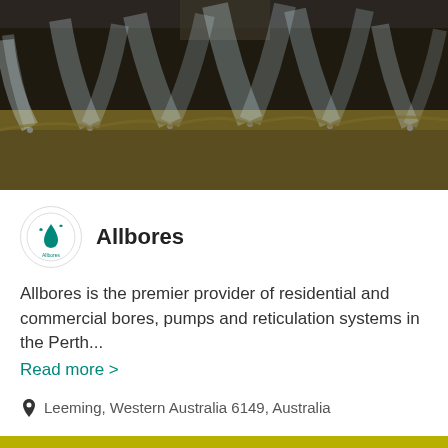[Figure (photo): Outdoor lawn sprinklers spraying water mist over dry grass in dark/night setting]
Allbores
Allbores is the premier provider of residential and commercial bores, pumps and reticulation systems in the Perth...
Read more >
Leeming, Western Australia 6149, Australia
Send Message